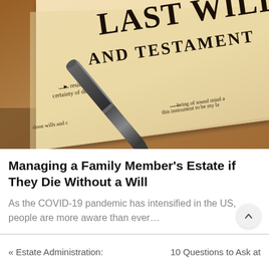[Figure (photo): Close-up photograph of a 'Last Will and Testament' document with a fountain pen resting on it. The document shows text including 'LAST WILL AND TESTAMENT', 'residing', 'certainty of death', 'being of sound mind', and 'this instrument to be my'. The image has warm sepia/amber tones.]
Managing a Family Member's Estate if They Die Without a Will
As the COVID-19 pandemic has intensified in the US, people are more aware than ever...
« Estate Administration:    10 Questions to Ask at